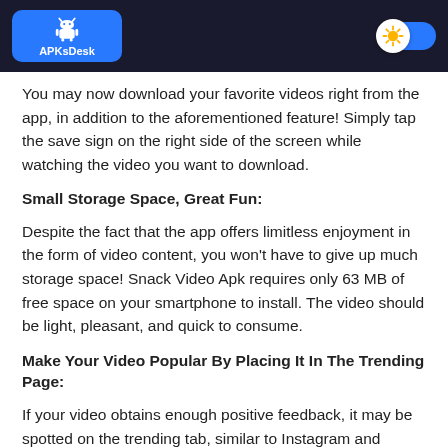APKsDesk
You may now download your favorite videos right from the app, in addition to the aforementioned feature! Simply tap the save sign on the right side of the screen while watching the video you want to download.
Small Storage Space, Great Fun:
Despite the fact that the app offers limitless enjoyment in the form of video content, you won't have to give up much storage space! Snack Video Apk requires only 63 MB of free space on your smartphone to install. The video should be light, pleasant, and quick to consume.
Make Your Video Popular By Placing It In The Trending Page:
If your video obtains enough positive feedback, it may be spotted on the trending tab, similar to Instagram and TikTok. Feedback comes in the form of reactions and shares! Continu…